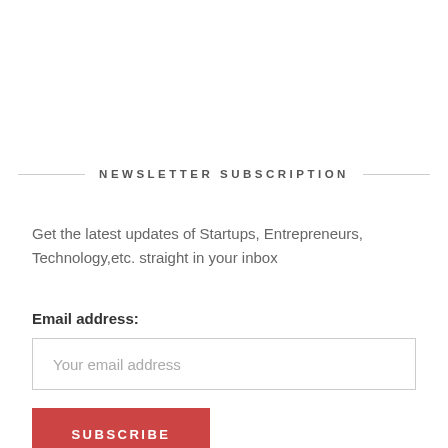NEWSLETTER SUBSCRIPTION
Get the latest updates of Startups, Entrepreneurs, Technology,etc. straight in your inbox
Email address:
Your email address
SUBSCRIBE